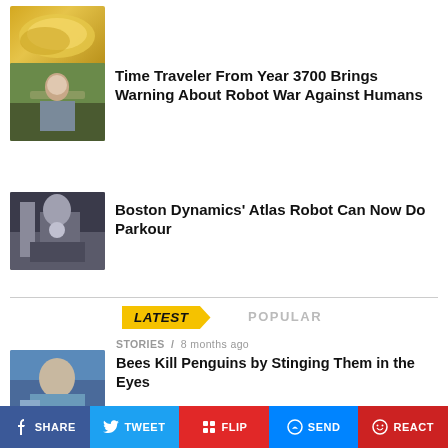[Figure (photo): Partial thumbnail of food item (yellow/golden) at top of page, cropped]
[Figure (photo): Thumbnail of person sitting on bench outdoors, face blurred]
Time Traveler From Year 3700 Brings Warning About Robot War Against Humans
[Figure (photo): Thumbnail of Boston Dynamics Atlas robot doing parkour]
Boston Dynamics’ Atlas Robot Can Now Do Parkour
LATEST
POPULAR
STORIES / 8 months ago
[Figure (photo): Thumbnail of person handling a small animal wrapped in blue cloth]
Bees Kill Penguins by Stinging Them in the Eyes
SHARE  TWEET  FLIP  SEND  REACT